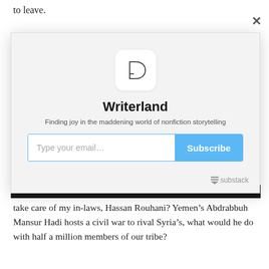to leave.
“This whole neighborhood was inhabited before by mostl
[Figure (screenshot): Substack newsletter subscription modal popup for 'Writerland' with a logo, title, subtitle 'Finding joy in the maddening world of nonfiction storytelling', email input field, Subscribe button, and Substack branding. A close (x) button appears in the top right corner.]
take care of my in-laws, Hassan Rouhani? Yemen’s Abdrabbuh Mansur Hadi hosts a civil war to rival Syria’s, what would he do with half a million members of our tribe?